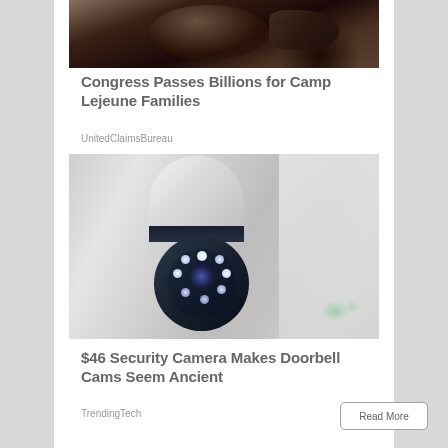[Figure (photo): Partial photo of a dark-furred animal (likely an eagle or bird of prey with talons) cropped at top of page]
Congress Passes Billions for Camp Lejeune Families
UnitedClaimsBureau
[Figure (photo): Photo of a white security camera with blue LED ring lights mounted on a wall/ceiling]
$46 Security Camera Makes Doorbell Cams Seem Ancient
TrendingTech
Read More